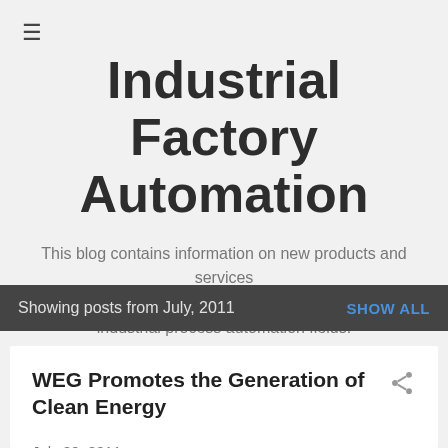≡
Industrial Factory Automation
This blog contains information on new products and services related to engineering, electronics, manufacturing, and industrial process automation fields.
Showing posts from July, 2011
WEG Promotes the Generation of Clean Energy
July 29, 2011